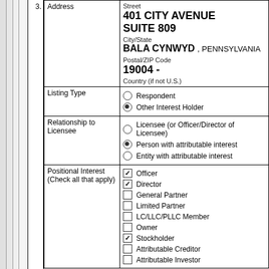| Address | Street
401 CITY AVENUE
SUITE 809
City/State
BALA CYNWYD , PENNSYLVANIA
Postal/ZIP Code
19004 -
Country (if not U.S.) |
| Listing Type | ○ Respondent
● Other Interest Holder |
| Relationship to Licensee | ○ Licensee (or Officer/Director of Licensee)
● Person with attributable interest
○ Entity with attributable interest |
| Positional Interest (Check all that apply) | ☑ Officer
☑ Director
☐ General Partner
☐ Limited Partner
☐ LC/LLC/PLLC Member
☐ Owner
☑ Stockholder
☐ Attributable Creditor
☐ Attributable Investor |